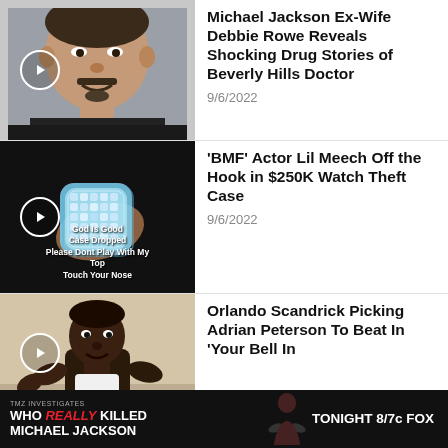[Figure (photo): Thumbnail of a middle-aged man with mustache and goatee wearing dark clothing, with a video play button overlay]
Michael Jackson Ex-Wife Debbie Rowe Reveals Shocking Drug Stories of Beverly Hills Doctor
9/6/2022
[Figure (photo): Thumbnail of a diamond-encrusted watch in the dark, with overlay text reading 'God Is Good / Case Dropped / Please Dont Play With My Top / Touch Your Nose', with a video play button overlay]
'BMF' Actor Lil Meech Off the Hook in $250K Watch Theft Case
9/6/2022
[Figure (photo): Thumbnail of a Black man speaking, with a video play button overlay partially visible]
Orlando Scandrick Picking Adrian Peterson To Beat In 'Your Bell In
[Figure (infographic): Advertisement banner: 'WHO REALLY KILLED MICHAEL JACKSON - TONIGHT 8/7c FOX' on dark background with silhouette graphic]